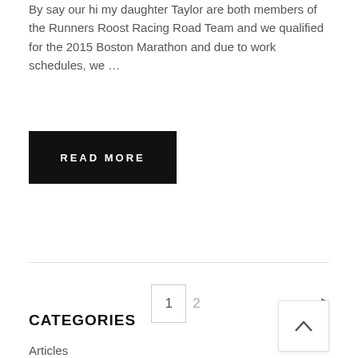By say our hi my daughter Taylor are both members of the Runners Roost Racing Road Team and we qualified for the 2015 Boston Marathon and due to work schedules, we …
READ MORE
1
2
CATEGORIES
Articles
Community
Events